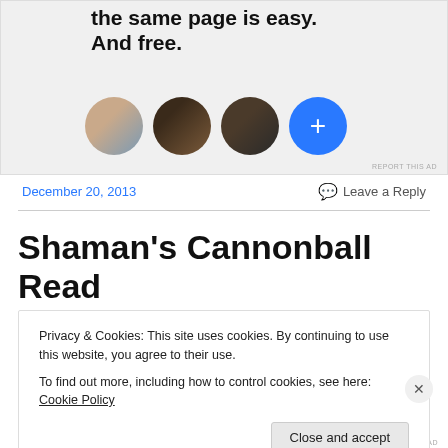[Figure (other): Advertisement banner with bold text 'the same page is easy. And free.' and four circular avatars (three person photos and one blue plus button)]
December 20, 2013
Leave a Reply
Shaman's Cannonball Read #CBR5 review #26: The Ocean
Privacy & Cookies: This site uses cookies. By continuing to use this website, you agree to their use.
To find out more, including how to control cookies, see here: Cookie Policy